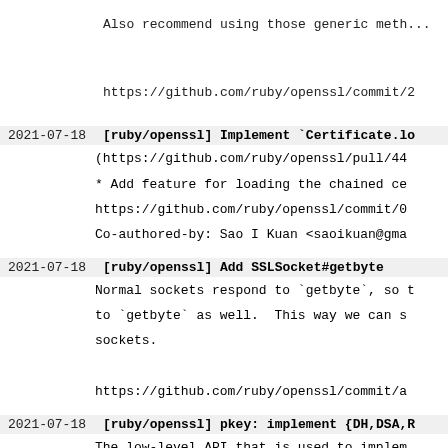Also recommend using those generic methods
https://github.com/ruby/openssl/commit/2
2021-07-18 [ruby/openssl] Implement `Certificate.lo
(https://github.com/ruby/openssl/pull/44
* Add feature for loading the chained ce
https://github.com/ruby/openssl/commit/0
Co-authored-by: Sao I Kuan <saoikuan@gma
2021-07-18 [ruby/openssl] Add SSLSocket#getbyte
Normal sockets respond to `getbyte`, so the SSLSocket should respond to `getbyte` as well. This way we can substitute SSL sockets for normal sockets.
https://github.com/ruby/openssl/commit/a
2021-07-18 [ruby/openssl] pkey: implement {DH,DSA,R
The low-level API that is used to implement this is deprecated in OpenSSL 3.0. It is actually very simple to implement using existing methods only, in much shorter code.